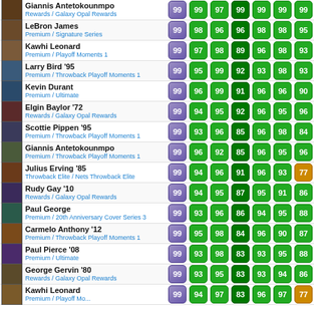| Player | Series | OVR | S1 | S2 | S3 | S4 | S5 | S6 |
| --- | --- | --- | --- | --- | --- | --- | --- | --- |
| Giannis Antetokounmpo | Rewards / Galaxy Opal Rewards | 99 | 99 | 97 | 99 | 99 | 99 | 99 |
| LeBron James | Premium / Signature Series | 99 | 98 | 96 | 96 | 98 | 98 | 95 |
| Kawhi Leonard | Premium / Playoff Moments 1 | 99 | 97 | 98 | 89 | 96 | 98 | 93 |
| Larry Bird '95 | Premium / Throwback Playoff Moments 1 | 99 | 95 | 99 | 92 | 93 | 98 | 93 |
| Kevin Durant | Premium / Ultimate | 99 | 96 | 99 | 91 | 96 | 96 | 90 |
| Elgin Baylor '72 | Rewards / Galaxy Opal Rewards | 99 | 94 | 95 | 92 | 96 | 95 | 96 |
| Scottie Pippen '95 | Premium / Throwback Playoff Moments 1 | 99 | 93 | 96 | 85 | 96 | 98 | 84 |
| Giannis Antetokounmpo | Premium / Throwback Playoff Moments 1 | 99 | 96 | 92 | 85 | 96 | 95 | 96 |
| Julius Erving '85 | Throwback Elite / Nets Throwback Elite | 99 | 94 | 96 | 91 | 96 | 93 | 77 |
| Rudy Gay '10 | Rewards / Galaxy Opal Rewards | 99 | 94 | 95 | 87 | 95 | 91 | 86 |
| Paul George | Premium / 20th Anniversary Cover Series 3 | 99 | 93 | 96 | 86 | 94 | 95 | 88 |
| Carmelo Anthony '12 | Premium / Throwback Playoff Moments 1 | 99 | 95 | 98 | 84 | 96 | 90 | 87 |
| Paul Pierce '08 | Premium / Ultimate | 99 | 93 | 98 | 83 | 93 | 95 | 88 |
| George Gervin '80 | Rewards / Galaxy Opal Rewards | 99 | 93 | 95 | 83 | 93 | 94 | 86 |
| Kawhi Leonard | Premium / Playoff Mo... | 99 | 94 | 97 | 83 | 96 | 97 | 77 |